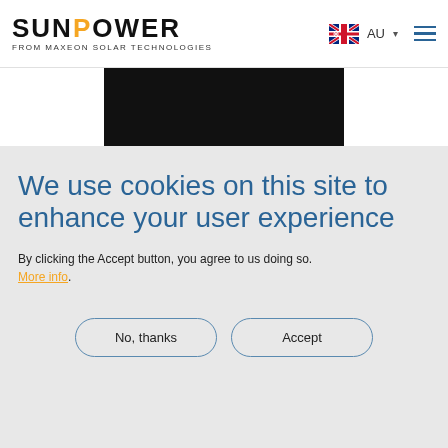[Figure (logo): SunPower logo with orange 'O', subtitle 'FROM MAXEON SOLAR TECHNOLOGIES', Australian flag with AU dropdown, and hamburger menu icon]
[Figure (photo): Dark/black solar panel product image, partially visible]
We use cookies on this site to enhance your user experience
By clicking the Accept button, you agree to us doing so. More info.
No, thanks
Accept